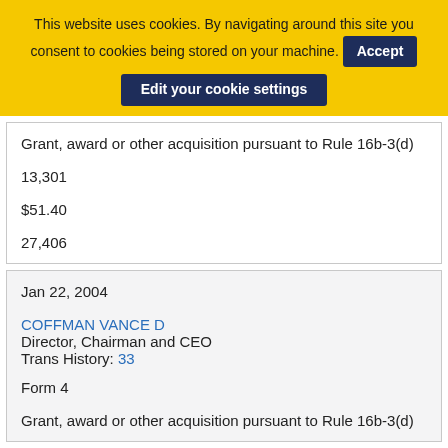This website uses cookies. By navigating around this site you consent to cookies being stored on your machine. Accept Edit your cookie settings
| Grant, award or other acquisition pursuant to Rule 16b-3(d) |
| 13,301 |
| $51.40 |
| 27,406 |
| Jan 22, 2004 |
| COFFMAN VANCE D
Director, Chairman and CEO
Trans History: 33 |
| Form 4 |
| Grant, award or other acquisition pursuant to Rule 16b-3(d) |